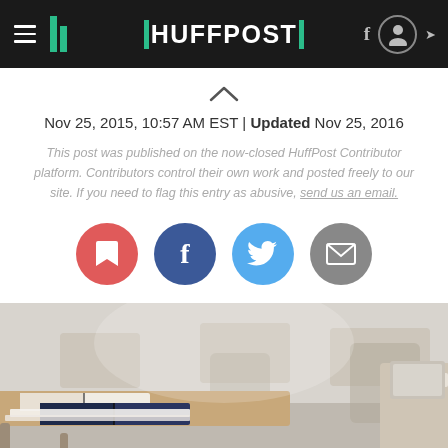HuffPost
Nov 25, 2015, 10:57 AM EST | Updated Nov 25, 2016
This post was published on the now-closed HuffPost Contributor platform. Contributors control their own work and posted freely to our site. If you need to flag this entry as abusive, send us an email.
[Figure (infographic): Social sharing buttons: bookmark (red), Facebook (dark blue), Twitter (light blue), email (grey)]
[Figure (photo): Classroom with student desks and open books in the foreground, blurred chairs and desks in the background]